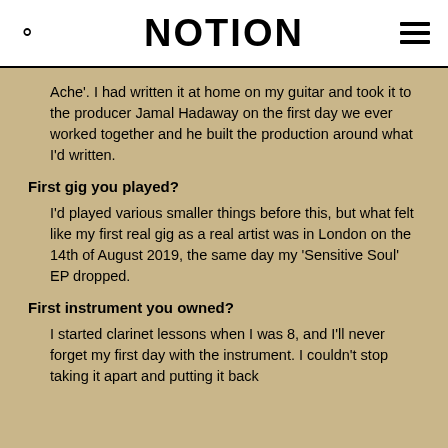NOTION
Ache'. I had written it at home on my guitar and took it to the producer Jamal Hadaway on the first day we ever worked together and he built the production around what I'd written.
First gig you played?
I'd played various smaller things before this, but what felt like my first real gig as a real artist was in London on the 14th of August 2019, the same day my 'Sensitive Soul' EP dropped.
First instrument you owned?
I started clarinet lessons when I was 8, and I'll never forget my first day with the instrument. I couldn't stop taking it apart and putting it back